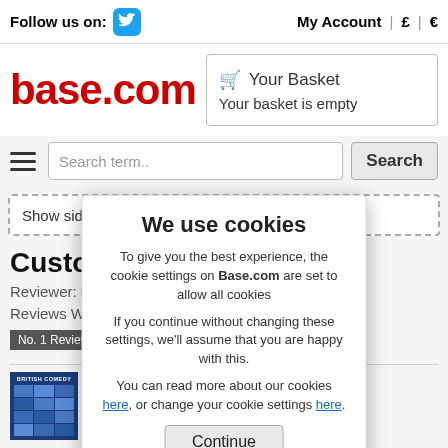Follow us on: [Twitter] | My Account | £ | €
[Figure (logo): base.com logo in red]
Your Basket - Your basket is empty
Search term.. [Search]
Show side bar
Customer Pro...
Reviewer: MattyB
Reviews Written: 1509
No. 1 Review...
[Figure (photo): British Comedy book cover with blue grid of images]
British... The PORRIDGE, RISING DAMP
We use cookies

To give you the best experience, the cookie settings on Base.com are set to allow all cookies

If you continue without changing these settings, we'll assume that you are happy with this.

You can read more about our cookies here, or change your cookie settings here.

Continue